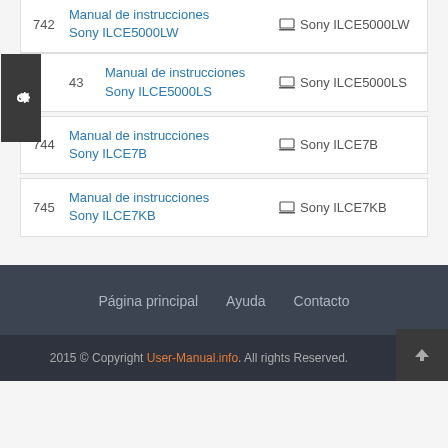742 Manual de instrucciones Sony ILCE5000LW — Sony ILCE5000LW
743 Manual de instrucciones Sony ILCE5000LS — Sony ILCE5000LS
744 Manual de instrucciones Sony ILCE7B — Sony ILCE7B
745 Manual de instrucciones Sony ILCE7KB — Sony ILCE7KB
Página principal   Ayuda   Contacto
2015 © Copyright User-Manual.info. All rights Reserved.